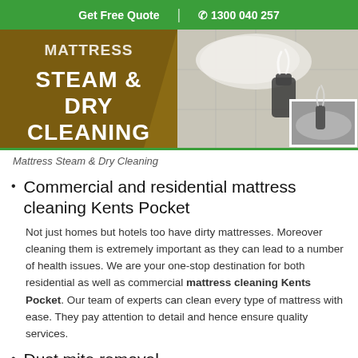Get Free Quote | 1300 040 257
[Figure (photo): Mattress Steam & Dry Cleaning promotional banner with brown/gold background showing text 'MATTRESS STEAM & DRY CLEANING' on the left, and a photo of a mattress being steam cleaned on the right with a smaller inset steam cleaning image.]
Mattress Steam & Dry Cleaning
Commercial and residential mattress cleaning Kents Pocket
Not just homes but hotels too have dirty mattresses. Moreover cleaning them is extremely important as they can lead to a number of health issues. We are your one-stop destination for both residential as well as commercial mattress cleaning Kents Pocket. Our team of experts can clean every type of mattress with ease. They pay attention to detail and hence ensure quality services.
Dust mite removal